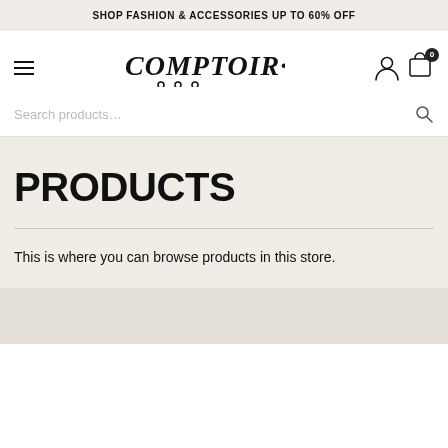SHOP FASHION & ACCESSORIES UP TO 60% OFF
[Figure (logo): Comptoir 102 logo with handwritten style text and three dots below]
Search products...
PRODUCTS
This is where you can browse products in this store.